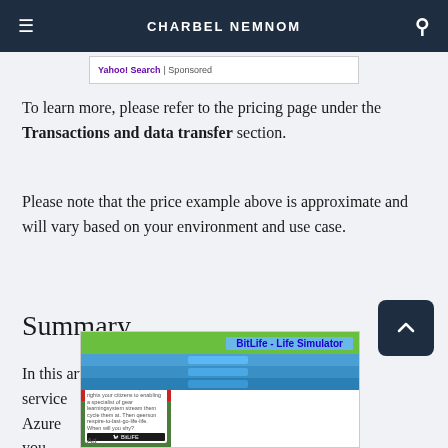CHARBEL NEMNOM
[Figure (screenshot): Yahoo! Search | Sponsored ad banner]
To learn more, please refer to the pricing page under the Transactions and data transfer section.
Please note that the price example above is approximate and will vary based on your environment and use case.
Summary
In this article, I showed you how to deploy an SFTP service ... and Azure ... However, if you ... job
[Figure (screenshot): BitLife - Life Simulator ad overlay with Childhood game advertisement]